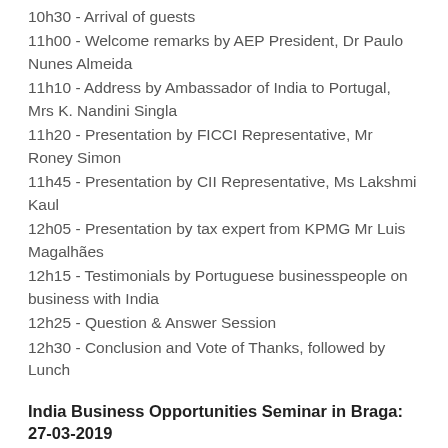10h30 - Arrival of guests
11h00 - Welcome remarks by AEP President, Dr Paulo Nunes Almeida
11h10 - Address by Ambassador of India to Portugal, Mrs K. Nandini Singla
11h20 - Presentation by FICCI Representative, Mr Roney Simon
11h45 - Presentation by CII Representative, Ms Lakshmi Kaul
12h05 - Presentation by tax expert from KPMG Mr Luis Magalhães
12h15 - Testimonials by Portuguese businesspeople on business with India
12h25 - Question & Answer Session
12h30 - Conclusion and Vote of Thanks, followed by Lunch
India Business Opportunities Seminar in Braga: 27-03-2019
The Embassy of India in Lisbon, in association with Invest...